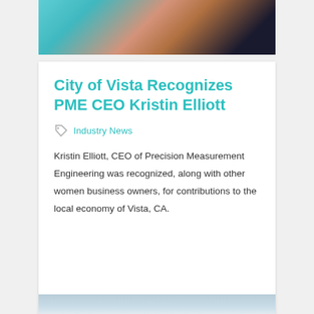[Figure (photo): Partial photo of a woman wearing a teal/turquoise blazer with a dark pendant necklace, cropped at top of frame.]
City of Vista Recognizes PME CEO Kristin Elliott
Industry News
Kristin Elliott, CEO of Precision Measurement Engineering was recognized, along with other women business owners, for contributions to the local economy of Vista, CA.
[Figure (photo): Partial photo of a light blue sky or water scene, cropped at the bottom of the frame.]